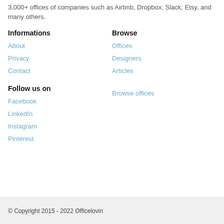3,000+ offices of companies such as Airbnb, Dropbox, Slack, Etsy, and many others.
Informations
About
Privacy
Contact
Browse
Offices
Designers
Articles
Follow us on
Facebook
LinkedIn
Instagram
Pinterest
Browse offices
© Copyright 2015 - 2022 Officelovin